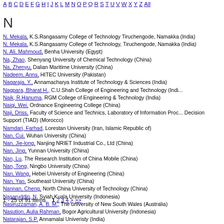A B C D E F G H I J K L M N O P Q R S T U V W X Y Z All
N
N, Mekala, K.S.Rangasamy College of Technology Tiruchengode, Namakka (India)
N, Mekala, K.S.Rangasamy College of Technology, Tiruchengode, Namakka (India)
N. Ali, Mahmoud, Benha University (Egypt)
Na, Zhao, Shenyang University of Chemical Technology (China)
Na, Zhenyu, Dalian Maritime University (China)
Nadeem, Anns, HITEC University (Pakistan)
Nagaraja, Y., Annamacharya Institute of Technology & Sciences (India)
Nagpara, Bharat H., C.U.Shah College of Engineering and Technology (India)
Naik, R.Hanuma, RGM College of Engineering & Technology (India)
Naiqi, Wei, Ordnance Engineering College (China)
Naji, Driss, Faculty of Science and Technics, Laboratory of Information Processing and Decision Support (TIAD) (Morocco)
Namdari, Farhad, Lorestan University (Iran, Islamic Republic of)
Nan, Cui, Wuhan University (China)
Nan, Jie-long, Nanjing NRIET Industrial Co., Ltd (China)
Nan, Jing, Yunnan University (China)
Nan, Lu, The Research Institution of China Mobile (China)
Nan, Tong, Ningbo University (China)
Nan, Wang, Hebei University of Engineering (China)
Nan, Yao, Southeast University (China)
Nannan, Cheng, North China University of Technology (China)
Nasaruddin, N, Syiah Kuala University (Indonesia)
Nasiruzzaman, A. B. M., The university of New South Wales (Australia)
Nasution, Aulia Rahman, Bogor Agricultural University (Indonesia)
Natarajan, S.P, Annamalai Univeristy (India)
Natarajan, S.P., Annamalai University (India)
1 - 25 of 91 Items   1 2 3 4 > >>